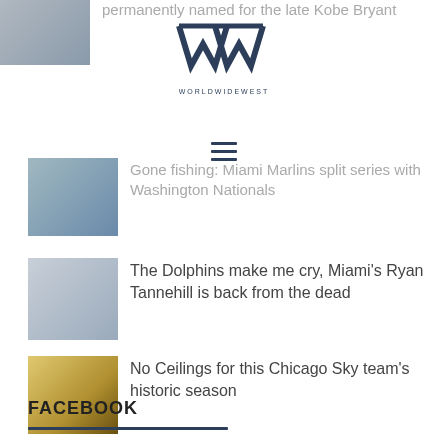[Figure (other): Partial sports thumbnail image at top left]
permanently named for the late Kobe Bryant
[Figure (logo): WorldWideWest logo with stylized W mark and text WORLDWIDEWEST]
[Figure (other): Hamburger menu icon with three horizontal lines]
[Figure (other): Sports thumbnail image - fishing/Marlins article]
Gone fishing: Miami Marlins split series with Washington Nationals
[Figure (photo): Sports thumbnail - Dolphins/Ryan Tannehill]
The Dolphins make me cry, Miami's Ryan Tannehill is back from the dead
[Figure (photo): Sports thumbnail - Chicago Sky team celebration]
No Ceilings for this Chicago Sky team's historic season
FACEBOOK